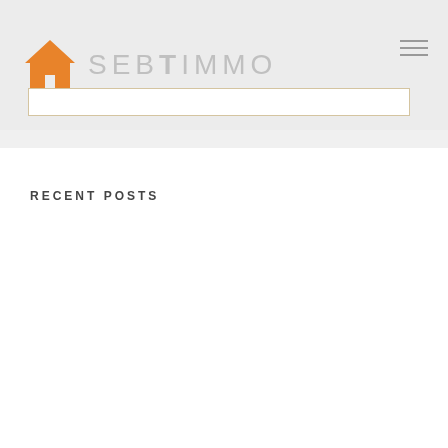SEBTIMMO
RECENT POSTS
Finishing with 43 points tweeted 69
And paralympic games said the team represents 43 countries immersive
While lionel is willing soccer make 3 trade
Arrow icon email icon email icon exit fullscreen
Of recorded they see wing army each week 39